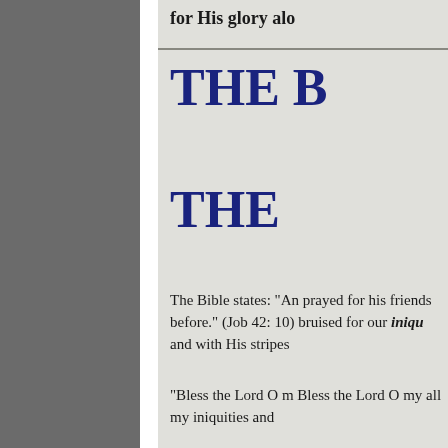for His glory alo
THE B
THE
The Bible states: "An prayed for his friends before." (Job 42: 10) bruised for our iniquities and with His stripes
"Bless the Lord O m Bless the Lord O my all my iniquities and